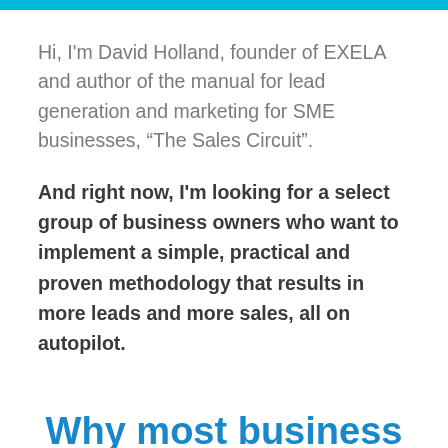Hi, I'm David Holland, founder of EXELA and author of the manual for lead generation and marketing for SME businesses, “The Sales Circuit”.
And right now, I'm looking for a select group of business owners who want to implement a simple, practical and proven methodology that results in more leads and more sales, all on autopilot.
Why most business